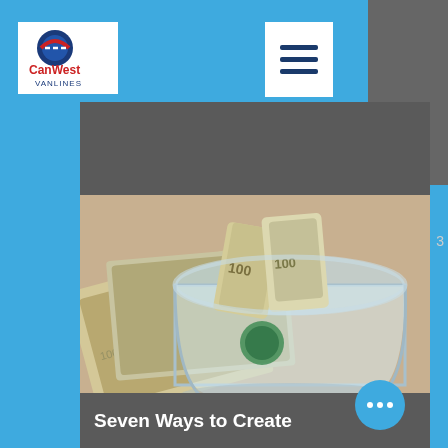[Figure (logo): CanWest VanLines logo with circular icon and company name]
[Figure (other): Hamburger menu icon (three horizontal lines)]
32
0
3
[Figure (photo): Overhead photo of a glass jar filled with rolled US $100 dollar bills, with more cash spread on a wooden surface in the background]
Seven Ways to Create